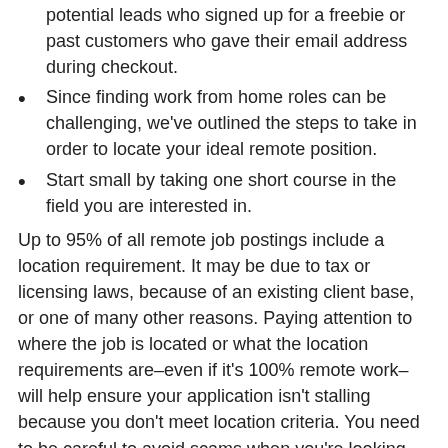potential leads who signed up for a freebie or past customers who gave their email address during checkout.
Since finding work from home roles can be challenging, we've outlined the steps to take in order to locate your ideal remote position.
Start small by taking one short course in the field you are interested in.
Up to 95% of all remote job postings include a location requirement. It may be due to tax or licensing laws, because of an existing client base, or one of many other reasons. Paying attention to where the job is located or what the location requirements are–even if it's 100% remote work–will help ensure your application isn't stalling because you don't meet location criteria. You need to be careful to avoid scams when you're looking for data entry http://proline-cabinets.com/index.php/2021/11/01/10-best-network-engineer-certifications-to-pursue/ work, but there are legitimate data entry jobs that are suitable for getting a second income.